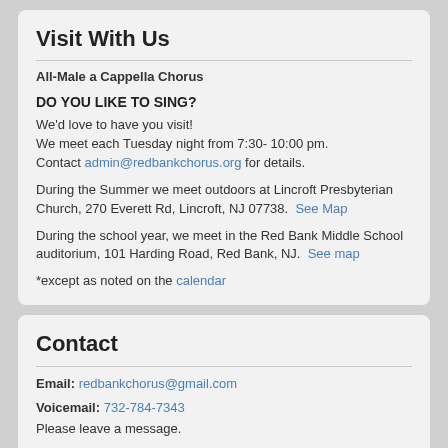Visit With Us
All-Male a Cappella Chorus
DO YOU LIKE TO SING?
We'd love to have you visit!
We meet each Tuesday night from 7:30- 10:00 pm.
Contact admin@redbankchorus.org for details.
During the Summer we meet outdoors at Lincroft Presbyterian Church, 270 Everett Rd, Lincroft, NJ 07738.  See Map
During the school year, we meet in the Red Bank Middle School auditorium, 101 Harding Road, Red Bank, NJ.  See map
*except as noted on the calendar
Contact
Email: redbankchorus@gmail.com
Voicemail: 732-784-7343
Please leave a message.
Mailing address: